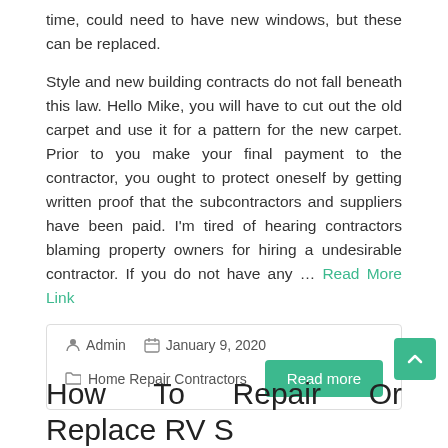time, could need to have new windows, but these can be replaced.
Style and new building contracts do not fall beneath this law. Hello Mike, you will have to cut out the old carpet and use it for a pattern for the new carpet. Prior to you make your final payment to the contractor, you ought to protect oneself by getting written proof that the subcontractors and suppliers have been paid. I'm tired of hearing contractors blaming property owners for hiring a undesirable contractor. If you do not have any … Read More Link
Admin  January 9, 2020  Home Repair Contractors  Read more
How To Repair Or Replace RV S